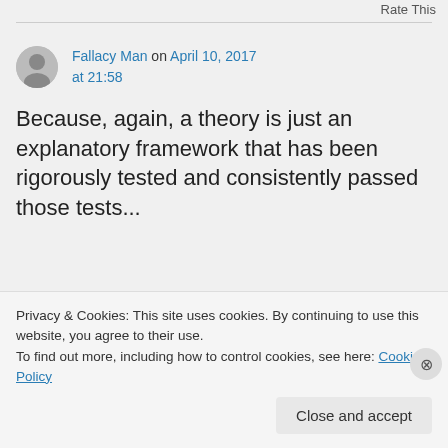Rate This
Fallacy Man on April 10, 2017 at 21:58
Because, again, a theory is just an explanatory framework that has been rigorously tested and consistently passed those tests. It doesn't mean a...
Privacy & Cookies: This site uses cookies. By continuing to use this website, you agree to their use.
To find out more, including how to control cookies, see here: Cookie Policy
Close and accept